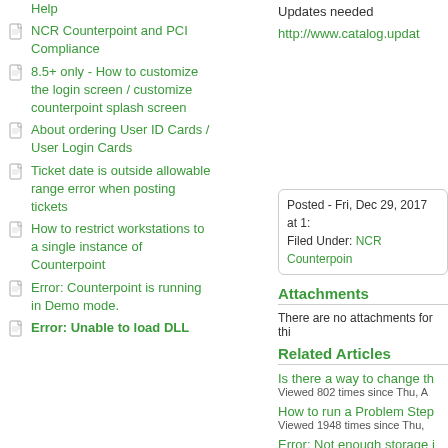Help
NCR Counterpoint and PCI Compliance
8.5+ only - How to customize the login screen / customize counterpoint splash screen
About ordering User ID Cards / User Login Cards
Ticket date is outside allowable range error when posting tickets
How to restrict workstations to a single instance of Counterpoint
Error: Counterpoint is running in Demo mode.
Error: Unable to load DLL
Updates needed
http://www.catalog.updat
Posted - Fri, Dec 29, 2017 at 1:
Filed Under: NCR Counterpoin
Attachments
There are no attachments for thi
Related Articles
Is there a way to change th
Viewed 802 times since Thu, A
How to run a Problem Step
Viewed 1948 times since Thu,
Error: Not enough storage i
Viewed 757 times since Thu, D